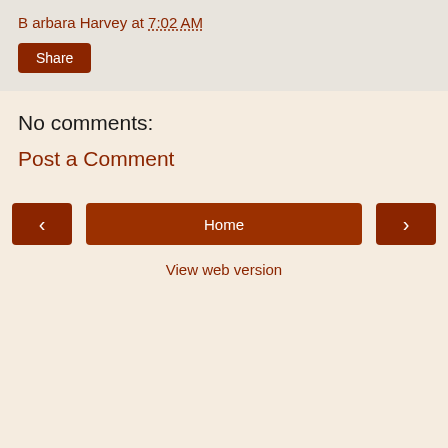B arbara Harvey at 7:02 AM
Share
No comments:
Post a Comment
‹
Home
›
View web version